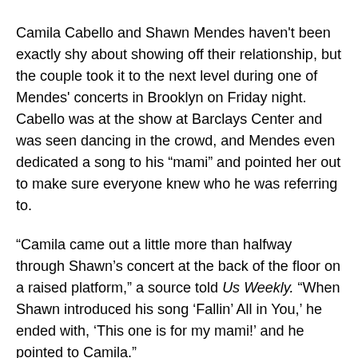Camila Cabello and Shawn Mendes haven't been exactly shy about showing off their relationship, but the couple took it to the next level during one of Mendes' concerts in Brooklyn on Friday night. Cabello was at the show at Barclays Center and was seen dancing in the crowd, and Mendes even dedicated a song to his “mami” and pointed her out to make sure everyone knew who he was referring to.
“Camila came out a little more than halfway through Shawn’s concert at the back of the floor on a raised platform,” a source told Us Weekly. “When Shawn introduced his song ‘Fallin’ All in You,’ he ended with, ‘This one is for my mami!’ and he pointed to Camila.”
Cabello took advantage of the moment and interacted with Mendes as he sang to her.